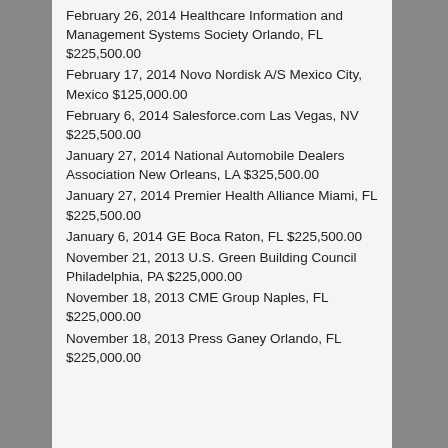February 26, 2014 Healthcare Information and Management Systems Society Orlando, FL $225,500.00
February 17, 2014 Novo Nordisk A/S Mexico City, Mexico $125,000.00
February 6, 2014 Salesforce.com Las Vegas, NV $225,500.00
January 27, 2014 National Automobile Dealers Association New Orleans, LA $325,500.00
January 27, 2014 Premier Health Alliance Miami, FL $225,500.00
January 6, 2014 GE Boca Raton, FL $225,500.00
November 21, 2013 U.S. Green Building Council Philadelphia, PA $225,000.00
November 18, 2013 CME Group Naples, FL $225,000.00
November 18, 2013 Press Ganey Orlando, FL $225,000.00